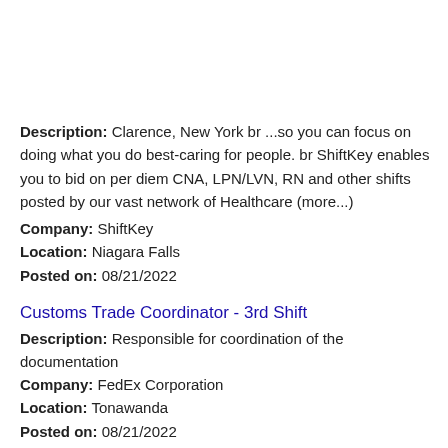Description: Clarence, New York br ...so you can focus on doing what you do best-caring for people. br ShiftKey enables you to bid on per diem CNA, LPN/LVN, RN and other shifts posted by our vast network of Healthcare (more...)
Company: ShiftKey
Location: Niagara Falls
Posted on: 08/21/2022
Customs Trade Coordinator - 3rd Shift
Description: Responsible for coordination of the documentation
Company: FedEx Corporation
Location: Tonawanda
Posted on: 08/21/2022
Supervisor, Freight Operations
Description: br br Solutions driven success. XPO is a top ten global provider of transportation services, with a highly integrated network of people, technology and physical assets. At XPO Logistics, we look